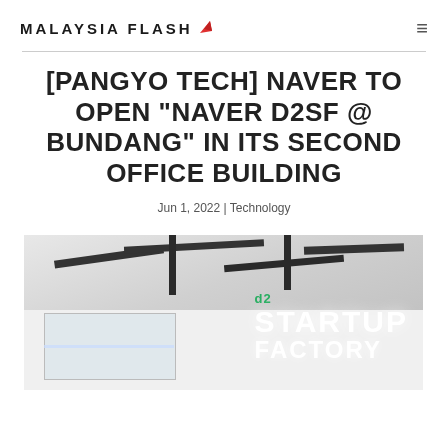Malaysia Flash
[PANGYO TECH] NAVER TO OPEN “NAVER D2SF @ BUNDANG” IN ITS SECOND OFFICE BUILDING
Jun 1, 2022 | Technology
[Figure (photo): Interior of a modern office or startup space showing ceiling beams and structural elements, with 'STARTUP' text visible in large illuminated letters on the right wall, and a D2 logo partially visible.]